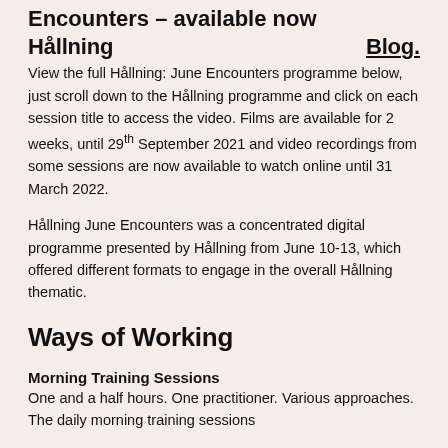Encounters – available now
Hållning
Blog.
View the full Hållning: June Encounters programme below, just scroll down to the Hållning programme and click on each session title to access the video. Films are available for 2 weeks, until 29th September 2021 and video recordings from some sessions are now available to watch online until 31 March 2022.
Hållning June Encounters was a concentrated digital programme presented by Hållning from June 10-13, which offered different formats to engage in the overall Hållning thematic.
Ways of Working
Morning Training Sessions
One and a half hours. One practitioner. Various approaches. The daily morning training sessions